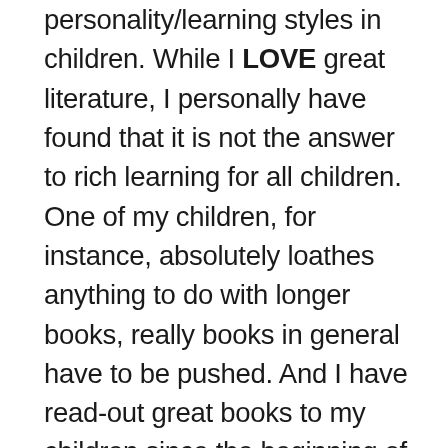personality/learning styles in children. While I LOVE great literature, I personally have found that it is not the answer to rich learning for all children. One of my children, for instance, absolutely loathes anything to do with longer books, really books in general have to be pushed. And I have read-out great books to my children since the beginning of homeschooling, but it hasn't mattered for this child, in fact at times it's been sheer torture. This child needs tangible adventure, getting their hands on it and in it,